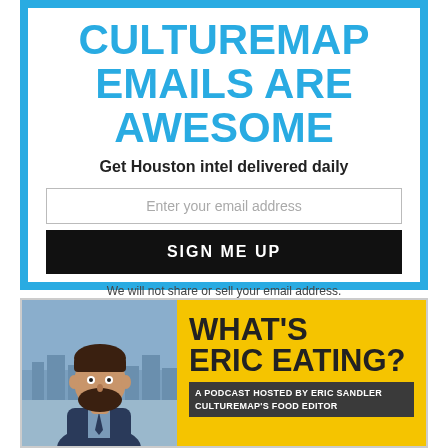CULTUREMAP EMAILS ARE AWESOME
Get Houston intel delivered daily
Enter your email address
SIGN ME UP
We will not share or sell your email address.
[Figure (infographic): What's Eric Eating? podcast promotional banner with photo of Eric Sandler and yellow background. Text reads: WHAT'S ERIC EATING? A PODCAST HOSTED BY ERIC SANDLER CULTUREMAP'S FOOD EDITOR]